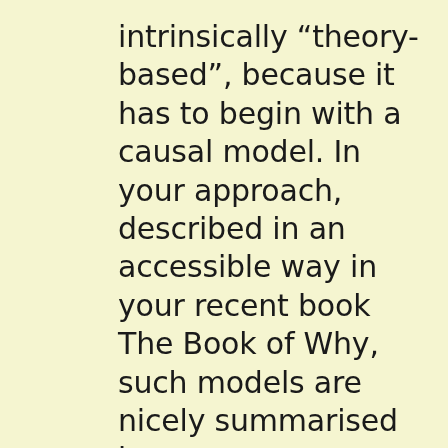intrinsically “theory-based”, because it has to begin with a causal model. In your approach, described in an accessible way in your recent book The Book of Why, such models are nicely summarised by your arrow charts. But don't theory-based models have the complementary risk that they rely heavily on the